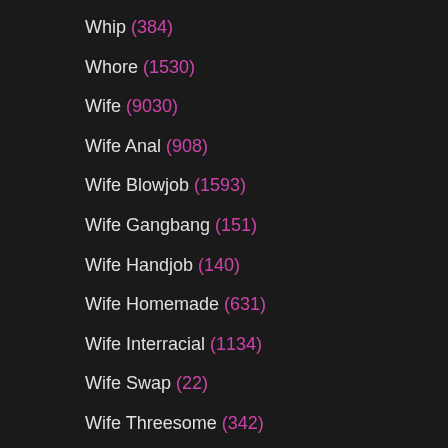Whip (384)
Whore (1530)
Wife (9030)
Wife Anal (908)
Wife Blowjob (1593)
Wife Gangbang (151)
Wife Handjob (140)
Wife Homemade (631)
Wife Interracial (1134)
Wife Swap (22)
Wife Threesome (342)
Wife Watches Husband (33)
Wild (639)
Window (87)
Working (122)
Workout (177)